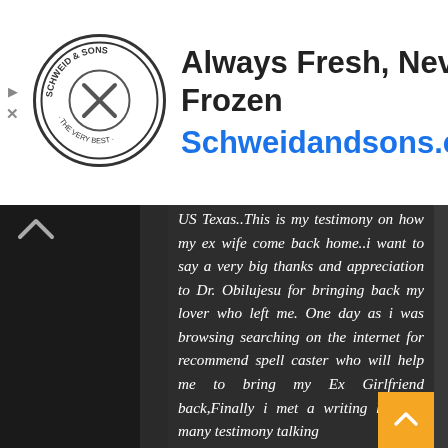[Figure (logo): Schweid & Sons circular logo with crossed utensils, 'The Very Best' text around the border]
Always Fresh, Never Frozen
Schweidandsons.com
[Figure (illustration): Blue diamond-shaped navigation/direction icon with white right-turn arrow]
US Texas..This is my testimony on how my ex wife come back home..i want to say a very big thanks and appreciation to Dr. Obilujesu for bringing back my lover who left me. One day as i was browsing searching on the internet for recommend spell caster who will help me to bring my Ex Girlfriend back,Finally i met a writing how so many testimony talking